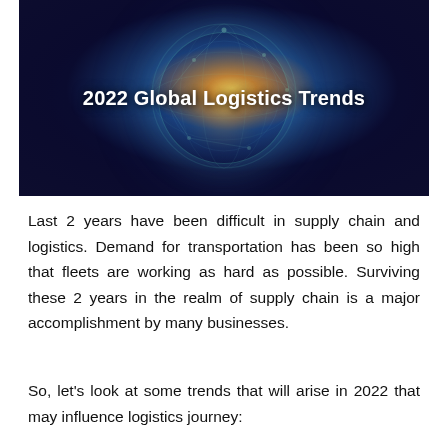[Figure (photo): Dark space-like image of a glowing network globe with nodes and connections, with the text '2022 Global Logistics Trends' overlaid in bold white font.]
Last 2 years have been difficult in supply chain and logistics. Demand for transportation has been so high that fleets are working as hard as possible. Surviving these 2 years in the realm of supply chain is a major accomplishment by many businesses.
So, let's look at some trends that will arise in 2022 that may influence logistics journey: